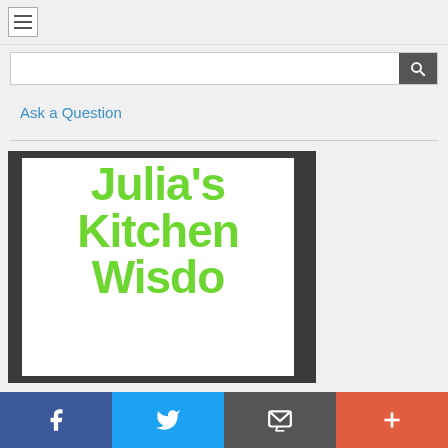[Figure (screenshot): Hamburger menu icon button in top left nav bar]
[Figure (screenshot): Search input bar with magnifying glass button]
Ask a Question
[Figure (photo): Book cover showing 'Julia's Kitchen Wisdom' text in bright green on white background, partially cropped]
[Figure (screenshot): Social share bar with Facebook, Twitter, Email, and More (+) buttons]